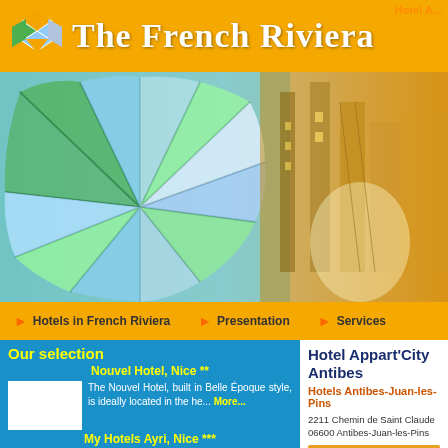Hotel A...
The French Riviera
[Figure (photo): Hero banner: colorful stained-glass umbrella on left, warm golden architecture on right]
Hotels in French Riviera  |  Presentation  |  Services
Our selection
Nouvel Hotel, Nice **
The Nouvel Hotel, built in Belle Époque style, is ideally located in the he... More...
Starting from 10.00 €
My Hotels Ayri, Nice ***
Right in the heart of Nice, opposite the central train station, My Hotels A... More...
Hotel Appart'City Antibes
Hotels Antibes-Juan-les-Pins
2211 Chemin de Saint Claude
06600 Antibes-Juan-les-Pins
Prices from : 39.00 €
Check availability :
From : 08-23-2022  To : 08-24-2022